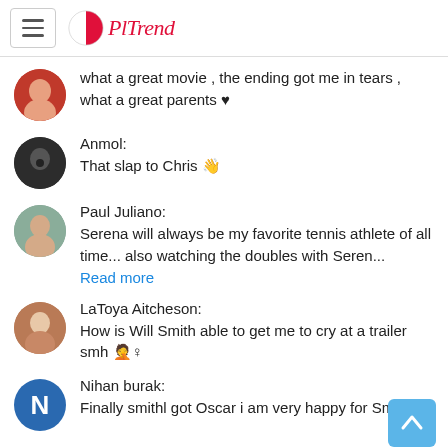PLTrend
what a great movie , the ending got me in tears , what a great parents ♥
Anmol:
That slap to Chris 👋
Paul Juliano:
Serena will always be my favorite tennis athlete of all time... also watching the doubles with Seren...
Read more
LaToya Aitcheson:
How is Will Smith able to get me to cry at a trailer smh 🤦♀
Nihan burak:
Finally smithl got Oscar i am very happy for Smith